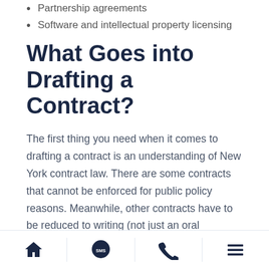Partnership agreements
Software and intellectual property licensing
What Goes into Drafting a Contract?
The first thing you need when it comes to drafting a contract is an understanding of New York contract law. There are some contracts that cannot be enforced for public policy reasons. Meanwhile, other contracts have to be reduced to writing (not just an oral agreement) in order to be enforced. On top of that, some specific terms you may want to include in the contract might not be valid. Or they could have a totally different legal meaning than you realize. Drafting a contract is complex and only grows
Home | SMS | Phone | Menu